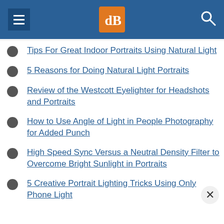dPS navigation header with hamburger menu, dPS logo, and search icon
Tips For Great Indoor Portraits Using Natural Light
5 Reasons for Doing Natural Light Portraits
Review of the Westcott Eyelighter for Headshots and Portraits
How to Use Angle of Light in People Photography for Added Punch
High Speed Sync Versus a Neutral Density Filter to Overcome Bright Sunlight in Portraits
5 Creative Portrait Lighting Tricks Using Only Phone Light